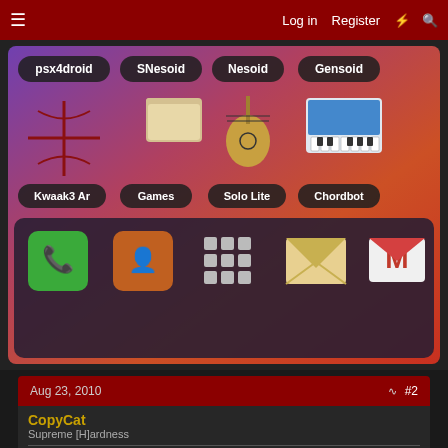Log in  Register
[Figure (screenshot): Android phone homescreen showing app icons: psx4droid, SNesoid, Nesoid, Gensoid in top row with dark rounded labels; second row shows Kwaak3 Ar, Games (folder), Solo Lite, Chordbot icons; dock bar at bottom with Phone, Contacts, App Drawer, Mail, Gmail icons]
Aug 23, 2010  #2
CopyCat
Supreme [H]ardness
We did start a "Droid Homescreen" thread